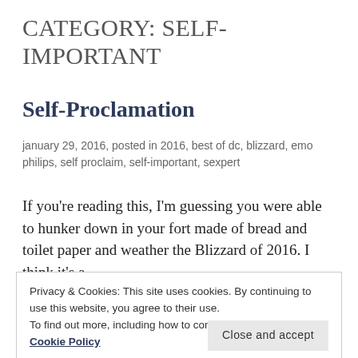CATEGORY: SELF-IMPORTANT
Self-Proclamation
january 29, 2016, posted in 2016, best of dc, blizzard, emo philips, self proclaim, self-important, sexpert
If you're reading this, I'm guessing you were able to hunker down in your fort made of bread and toilet paper and weather the Blizzard of 2016. I think it's a
Privacy & Cookies: This site uses cookies. By continuing to use this website, you agree to their use.
To find out more, including how to control cookies, see here: Cookie Policy
Close and accept
of the blue from my friends at the Arlington